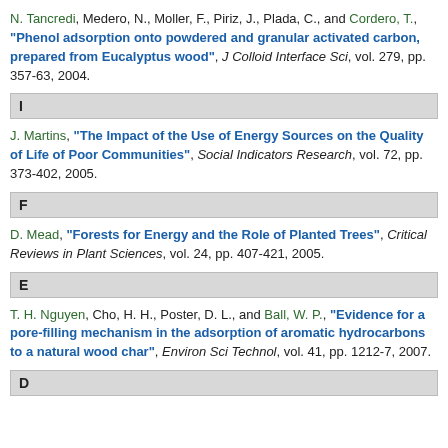N. Tancredi, Medero, N., Moller, F., Piriz, J., Plada, C., and Cordero, T., "Phenol adsorption onto powdered and granular activated carbon, prepared from Eucalyptus wood", J Colloid Interface Sci, vol. 279, pp. 357-63, 2004.
I
J. Martins, "The Impact of the Use of Energy Sources on the Quality of Life of Poor Communities", Social Indicators Research, vol. 72, pp. 373-402, 2005.
F
D. Mead, "Forests for Energy and the Role of Planted Trees", Critical Reviews in Plant Sciences, vol. 24, pp. 407-421, 2005.
E
T. H. Nguyen, Cho, H. H., Poster, D. L., and Ball, W. P., "Evidence for a pore-filling mechanism in the adsorption of aromatic hydrocarbons to a natural wood char", Environ Sci Technol, vol. 41, pp. 1212-7, 2007.
D